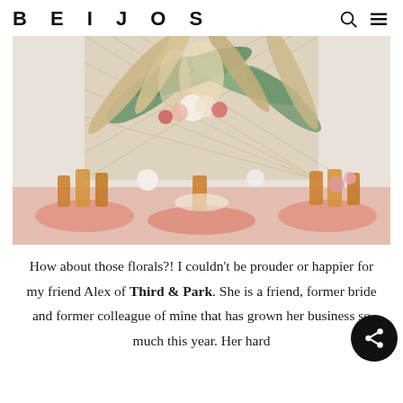BEIJOS
[Figure (photo): A boho-style wedding tablescape with dried and fresh florals including palm leaves, pampas grass, roses, and tropical greenery on a tall backdrop structure. The table is set with amber/gold vintage glassware, pink napkins, and flowers in soft pinks and whites.]
How about those florals?!  I couldn't be prouder or happier for my friend Alex of Third & Park.  She is a friend, former bride and former colleague of mine that has grown her business so much this year.  Her hard